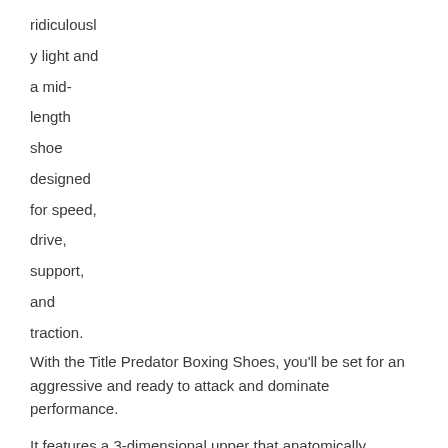ridiculously light and a mid-length shoe designed for speed, drive, support, and traction.
With the Title Predator Boxing Shoes, you'll be set for an aggressive and ready to attack and dominate performance.

It features a 3-dimensional upper that anatomically contours and offers a customizable fit to your entire foot and ankles for an enhanced fit and support. The boxing shoes also feature an innovative material that can flex to offer your feet with an